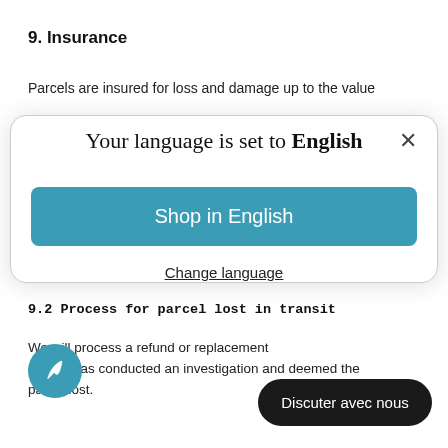9. Insurance
Parcels are insured for loss and damage up to the value
[Figure (screenshot): Modal dialog overlay with close button (×), title 'Your language is set to English', a teal 'Shop in English' button, and a 'Change language' underlined link.]
9.2 Process for parcel lost in transit
We will process a refund or replacem... courier has conducted an investigation and deemed the parcel lost.
[Figure (illustration): Teal circle with white feather/pen icon (chat widget button)]
[Figure (illustration): Black rounded rectangle chat bubble with text 'Discuter avec nous']